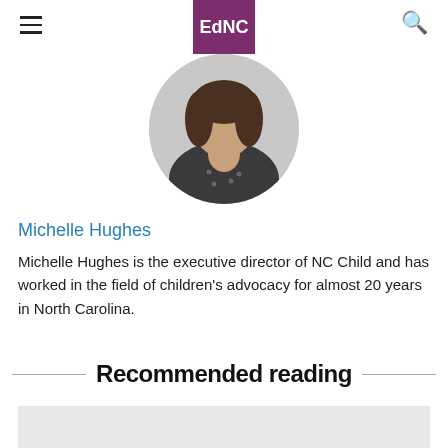EdNC
[Figure (photo): Circular profile photo of Michelle Hughes, a woman wearing a dark polka-dot top]
Michelle Hughes
Michelle Hughes is the executive director of NC Child and has worked in the field of children's advocacy for almost 20 years in North Carolina.
Recommended reading